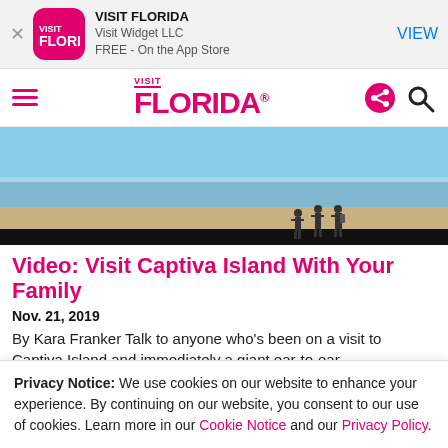[Figure (screenshot): Visit Florida app banner with pink rounded-square icon, app title 'VISIT FLORIDA', subtitle 'Visit Widget LLC', 'FREE - On the App Store', and a blue 'VIEW' button on the right.]
[Figure (logo): Visit Florida navigation bar with hamburger menu on left, pink VISIT FLORIDA logo in center, share and search icons on right.]
[Figure (photo): Beach scene with blue sky, ocean water, sandy shore, and silhouettes of three people standing on the beach. Black strip at bottom.]
Video: Visit Captiva Island With Your Family
Nov. 21, 2019
By Kara Franker Talk to anyone who's been on a visit to Captiva Island and immediately a giant ear-to-ear
Privacy Notice: We use cookies on our website to enhance your experience. By continuing on our website, you consent to our use of cookies. Learn more in our Cookie Notice and our Privacy Policy.